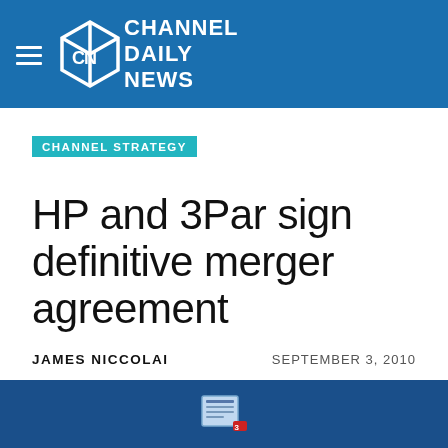CHANNEL DAILY NEWS
CHANNEL STRATEGY
HP and 3Par sign definitive merger agreement
JAMES NICCOLAI   SEPTEMBER 3, 2010